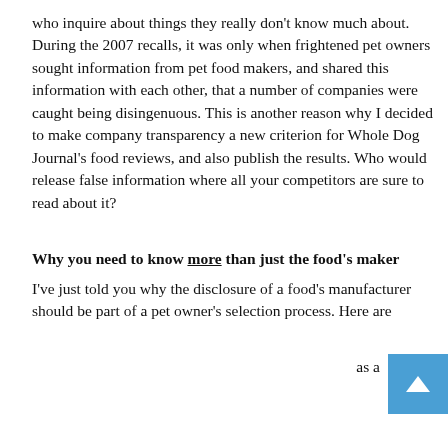who inquire about things they really don't know much about. During the 2007 recalls, it was only when frightened pet owners sought information from pet food makers, and shared this information with each other, that a number of companies were caught being disingenuous. This is another reason why I decided to make company transparency a new criterion for Whole Dog Journal's food reviews, and also publish the results. Who would release false information where all your competitors are sure to read about it?
Why you need to know more than just the food's maker
I've just told you why the disclosure of a food's manufacturer should be part of a pet owner's selection process. Here are
[Figure (other): Modal popup advertisement for Whole Dog Journal subscription. White box with dark border. Close button (X) in top-right corner. Title: 'Try Whole Dog Journal For Just $1'. Orange 'Get Started' button partially visible at bottom.]